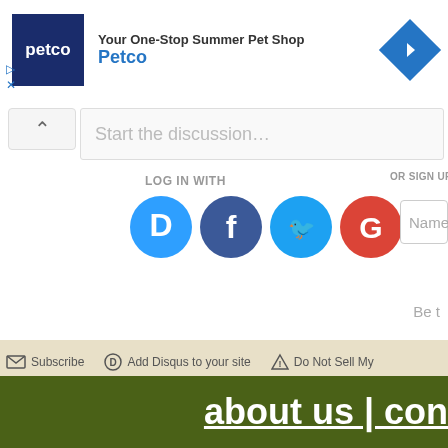[Figure (screenshot): Petco advertisement banner with dark blue logo square showing 'petco' text, advertiser name 'Petco', and blue diamond arrow icon on right. Close/skip buttons (triangle play and X) on left side.]
Start the discussion…
LOG IN WITH
[Figure (screenshot): Four social login icons in circles: Disqus (D, light blue), Facebook (f, dark blue), Twitter (bird, light blue), Google (G, red)]
OR SIGN UP WITH DISQUS ?
Name
Be t
Subscribe
Add Disqus to your site
Do Not Sell My
about us | con